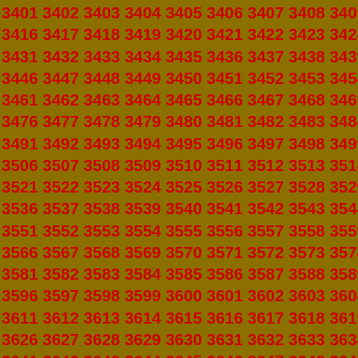3401 3402 3403 3404 3405 3406 3407 3408 3409 3410 3411 3412 3413 3414 3415 3416 3417 3418 3419 3420 3421 3422 3423 3424 3425 3426 3427 3428 3429 3430 3431 3432 3433 3434 3435 3436 3437 3438 3439 3440 3441 3442 3443 3444 3445 3446 3447 3448 3449 3450 3451 3452 3453 3454 3455 3456 3457 3458 3459 3460 3461 3462 3463 3464 3465 3466 3467 3468 3469 3470 3471 3472 3473 3474 3475 3476 3477 3478 3479 3480 3481 3482 3483 3484 3485 3486 3487 3488 3489 3490 3491 3492 3493 3494 3495 3496 3497 3498 3499 3500 3501 3502 3503 3504 3505 3506 3507 3508 3509 3510 3511 3512 3513 3514 3515 3516 3517 3518 3519 3520 3521 3522 3523 3524 3525 3526 3527 3528 3529 3530 3531 3532 3533 3534 3535 3536 3537 3538 3539 3540 3541 3542 3543 3544 3545 3546 3547 3548 3549 3550 3551 3552 3553 3554 3555 3556 3557 3558 3559 3560 3561 3562 3563 3564 3565 3566 3567 3568 3569 3570 3571 3572 3573 3574 3575 3576 3577 3578 3579 3580 3581 3582 3583 3584 3585 3586 3587 3588 3589 3590 3591 3592 3593 3594 3595 3596 3597 3598 3599 3600 3601 3602 3603 3604 3605 3606 3607 3608 3609 3610 3611 3612 3613 3614 3615 3616 3617 3618 3619 3620 3621 3622 3623 3624 3625 3626 3627 3628 3629 3630 3631 3632 3633 3634 3635 3636 3637 3638 3639 3640 3641 3642 3643 3644 3645 3646 3647 3648 3649 3650 3651 3652 3653 3654 3655 3656 3657 3658 3659 3660 3661 3662 3663 3664 3665 3666 3667 3668 3669 3670 3671 3672 3673 3674 3675 3676 3677 3678 3679 3680 3681 3682 3683 3684 3685 3686 3687 3688 3689 3690 3691 3692 3693 3694 3695 3696 3697 3698 3699 3700 3701 3702 3703 3704 3705 3706 3707 3708 3709 3710 3711 3712 3713 3714 3715 3716 3717 3718 3719 3720 3721 3722 3723 3724 3725 3726 3727 3728